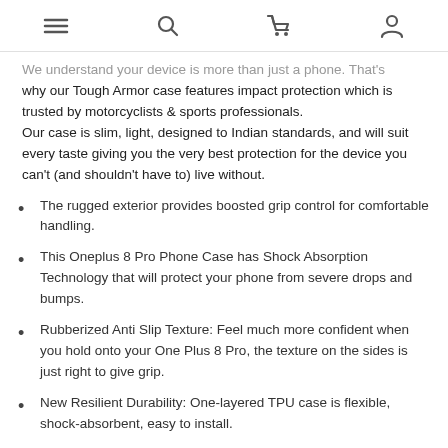[navigation icons: menu, search, cart, account]
We understand your device is more than just a phone. That's why our Tough Armor case features impact protection which is trusted by motorcyclists & sports professionals.
Our case is slim, light, designed to Indian standards, and will suit every taste giving you the very best protection for the device you can't (and shouldn't have to) live without.
The rugged exterior provides boosted grip control for comfortable handling.
This Oneplus 8 Pro Phone Case has Shock Absorption Technology that will protect your phone from severe drops and bumps.
Rubberized Anti Slip Texture: Feel much more confident when you hold onto your One Plus 8 Pro, the texture on the sides is just right to give grip.
New Resilient Durability: One-layered TPU case is flexible, shock-absorbent, easy to install.
Raised Bezels & Tactile button press: Keeps the screen